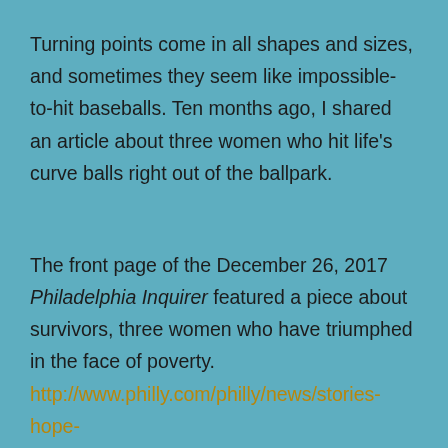Turning points come in all shapes and sizes, and sometimes they seem like impossible-to-hit baseballs. Ten months ago, I shared an article about three women who hit life's curve balls right out of the ballpark.
The front page of the December 26, 2017 Philadelphia Inquirer featured a piece about survivors, three women who have triumphed in the face of poverty.
http://www.philly.com/philly/news/stories-hope-